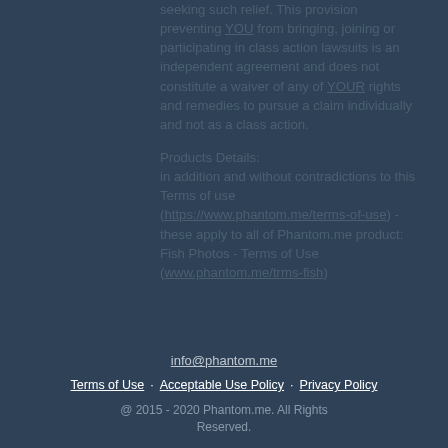seeking such relief. This provision preventing YOU from bringing, joining or participating in class action lawsuits is an independent agreement and does not constitute a waiver of any of YOUR rights and remedies to pursue a claim individually and not as a class action.
Products Details:
in addition and without contradictions to this Terms of use (https://www.phantom.me/terms-of-use) - these apply to all of Phantom.me product:
Fish Photos - Terms of Use (www.phantom.me/trms-fish)
info@phantom.me
Terms of Use   Acceptable Use Policy   Privacy Policy
@ 2015 - 2020 Phantom.me. All Rights Reserved.